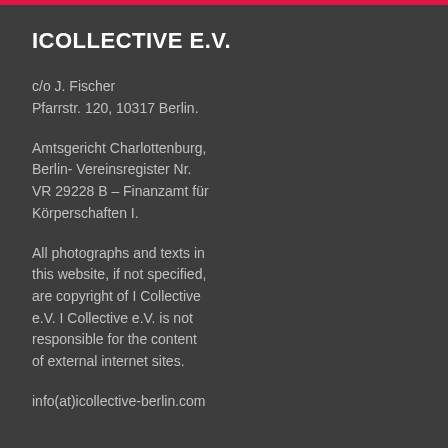ICOLLECTIVE E.V.
c/o J. Fischer
Pfarrstr. 120, 10317 Berlin.
Amtsgericht Charlottenburg, Berlin- Vereinsregister Nr. VR 29228 B – Finanzamt für Körperschaften I.
All photographs and texts in this website, if not specified, are copyright of I Collective e.V. I Collective e.V. is not responsible for the content of external internet sites.
info(at)icollective-berlin.com